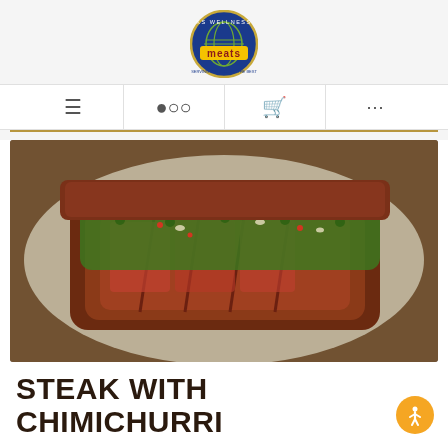[Figure (logo): KS Wellness Meats circular logo with globe and text]
[Figure (illustration): Navigation bar with hamburger menu, search, cart, and ellipsis icons]
[Figure (photo): Sliced steak topped with chimichurri sauce (chopped herbs, garlic, red pepper) on a plate]
STEAK WITH CHIMICHURRI
July is here! This month, we are excited to introduce to you our Featured Chef: Gil